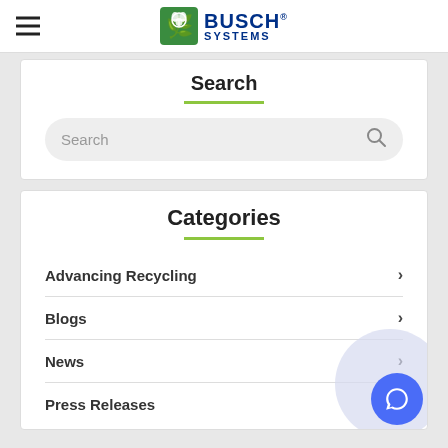Busch Systems
Search
Search
Categories
Advancing Recycling
Blogs
News
Press Releases